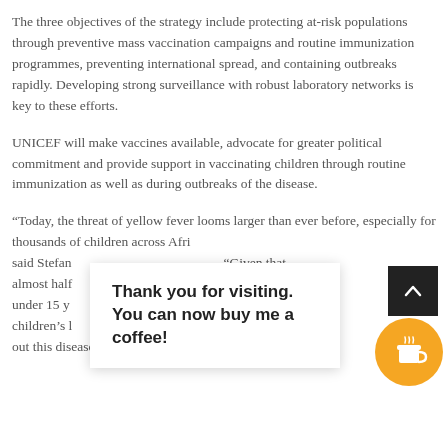The three objectives of the strategy include protecting at-risk populations through preventive mass vaccination campaigns and routine immunization programmes, preventing international spread, and containing outbreaks rapidly. Developing strong surveillance with robust laboratory networks is key to these efforts.
UNICEF will make vaccines available, advocate for greater political commitment and provide support in vaccinating children through routine immunization as well as during outbreaks of the disease.
“Today, the threat of yellow fever looms larger than ever before, especially for thousands of children across Afri[ca],” said Stefan[...]. “Given that almost half [...] childr[en] under 15 y[ears...] to s[ave] children’s l[ives...] d stamping out this disease.”